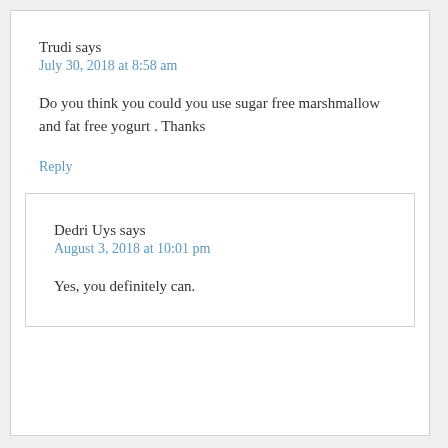Trudi says
July 30, 2018 at 8:58 am
Do you think you could you use sugar free marshmallow and fat free yogurt . Thanks
Reply
Dedri Uys says
August 3, 2018 at 10:01 pm
Yes, you definitely can.